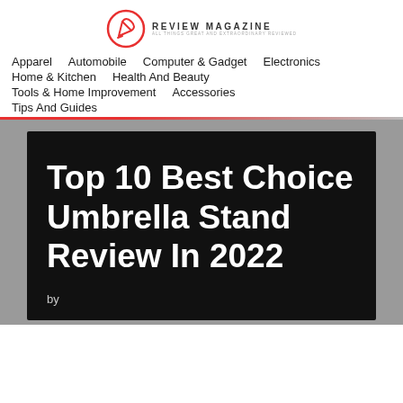[Figure (logo): Review Magazine logo with pencil/edit icon in red and text 'REVIEW MAGAZINE']
Apparel   Automobile   Computer & Gadget   Electronics   Home & Kitchen   Health And Beauty   Tools & Home Improvement   Accessories   Tips And Guides
Top 10 Best Choice Umbrella Stand Review In 2022
by